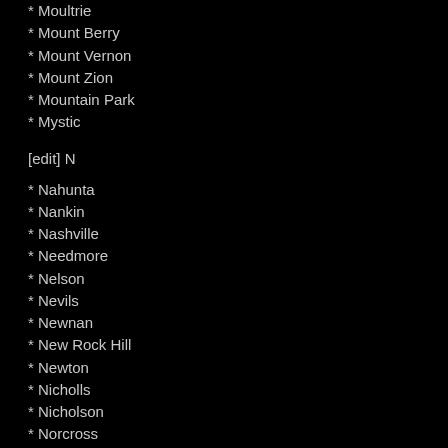* Moultrie
* Mount Berry
* Mount Vernon
* Mount Zion
* Mountain Park
* Mystic
[edit] N
* Nahunta
* Nankin
* Nashville
* Needmore
* Nelson
* Nevils
* Newnan
* New Rock Hill
* Newton
* Nicholls
* Nicholson
* Norcross
* Norman Park
* Norwood
[edit] O
* Oakwood
* Ocilla
* Oconee
* Offerman
* Oglethorpe